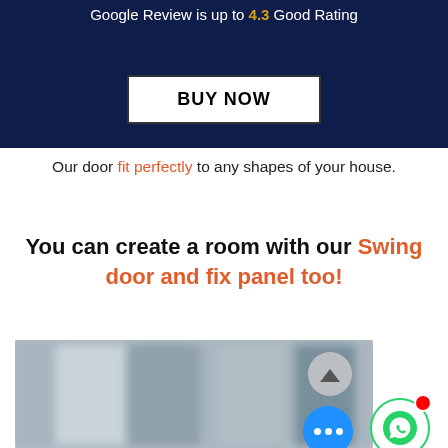Google Review is up to 4.3 Good Rating
BUY NOW
Our door fit perfectly to any shapes of your house.
You can create a room with our Swing door and fix panel too!
[Figure (photo): Blurred photo showing glass swing doors and fix panels in an interior setting]